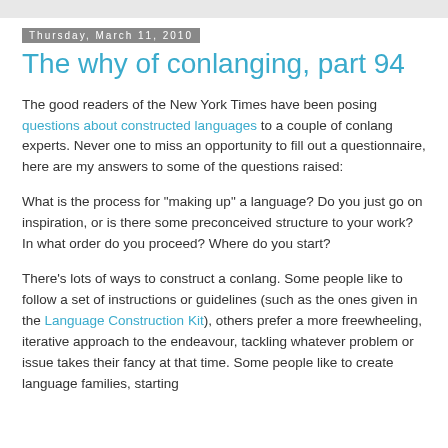Thursday, March 11, 2010
The why of conlanging, part 94
The good readers of the New York Times have been posing questions about constructed languages to a couple of conlang experts. Never one to miss an opportunity to fill out a questionnaire, here are my answers to some of the questions raised:
What is the process for "making up" a language? Do you just go on inspiration, or is there some preconceived structure to your work? In what order do you proceed? Where do you start?
There's lots of ways to construct a conlang. Some people like to follow a set of instructions or guidelines (such as the ones given in the Language Construction Kit), others prefer a more freewheeling, iterative approach to the endeavour, tackling whatever problem or issue takes their fancy at that time. Some people like to create language families, starting